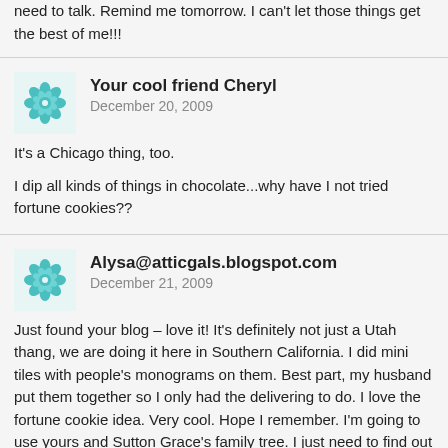need to talk. Remind me tomorrow. I can't let those things get the best of me!!!
Your cool friend Cheryl
December 20, 2009

It's a Chicago thing, too.

I dip all kinds of things in chocolate...why have I not tried fortune cookies??
Alysa@atticgals.blogspot.com
December 21, 2009

Just found your blog – love it! It's definitely not just a Utah thang, we are doing it here in Southern California. I did mini tiles with people's monograms on them. Best part, my husband put them together so I only had the delivering to do. I love the fortune cookie idea. Very cool. Hope I remember. I'm going to use yours and Sutton Grace's family tree. I just need to find out what names go where. How many generations and who goes on leaves and who goes on the tree? Thanks. Look forward to checking back often. alysawhitlock@yahoo.com